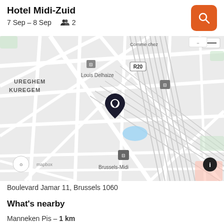Hotel Midi-Zuid
7 Sep – 8 Sep   👥 2
[Figure (map): Map showing Brussels area near Midi/Zuid train station with a location pin marker, neighborhoods labeled UREGHEM/KUREGEM, MAROLLES-MAROLLEN, Brux Chapelle Kapel, streets, rail lines, Lemonnier area, Louis Delhaize, R20, Brussels-Midi station, Comme chez label, Mapbox attribution and info button.]
Boulevard Jamar 11, Brussels 1060
What's nearby
Manneken Pis – 1 km